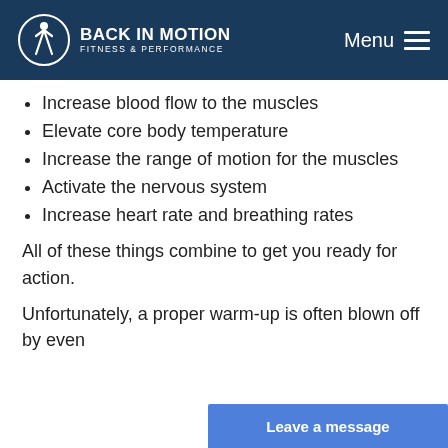BACK IN MOTION FITNESS & PERFORMANCE | Menu
Increase blood flow to the muscles
Elevate core body temperature
Increase the range of motion for the muscles
Activate the nervous system
Increase heart rate and breathing rates
All of these things combine to get you ready for action.
Unfortunately, a proper warm-up is often blown off by even
Leave a message